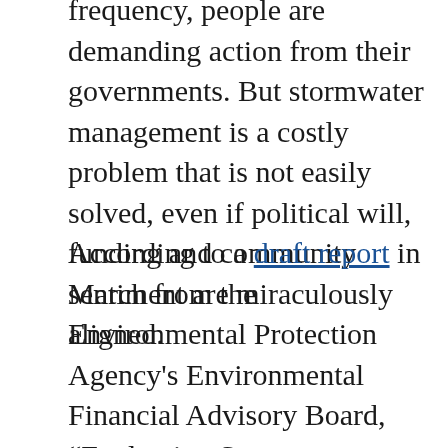frequency, people are demanding action from their governments. But stormwater management is a costly problem that is not easily solved, even if political will, funding and community sentiment are miraculously aligned.
According to a draft report in March from the Environmental Protection Agency's Environmental Financial Advisory Board, “Evaluating Stormwater Infrastructure and Financing Task Force,” there is no comprehensive, nationally representative numbers on what is required for stormwater capital and operation and maintenance.